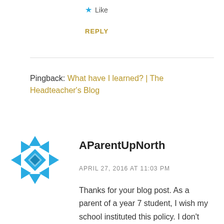★ Like
REPLY
Pingback: What have I learned? | The Headteacher's Blog
[Figure (logo): AParentUpNorth avatar — a geometric blue pinwheel/diamond pattern icon]
AParentUpNorth
APRIL 27, 2016 AT 11:03 PM
Thanks for your blog post. As a parent of a year 7 student, I wish my school instituted this policy. I don't understand why schools don't do so. My daughter has not had a choice about phones since she joined the